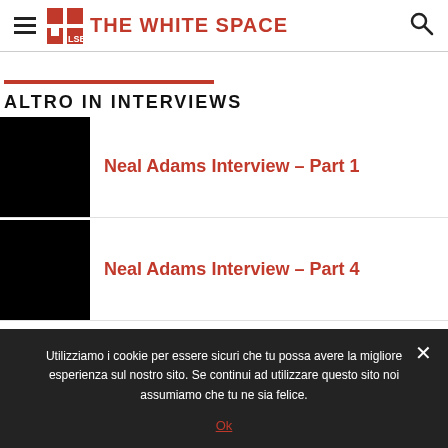THE WHITE SPACE
ALTRO IN INTERVIEWS
Neal Adams Interview – Part 1
[Figure (photo): Black thumbnail image for Neal Adams Interview Part 1]
Neal Adams Interview – Part 4
[Figure (photo): Black thumbnail image for Neal Adams Interview Part 4]
Utilizziamo i cookie per essere sicuri che tu possa avere la migliore esperienza sul nostro sito. Se continui ad utilizzare questo sito noi assumiamo che tu ne sia felice.
Ok